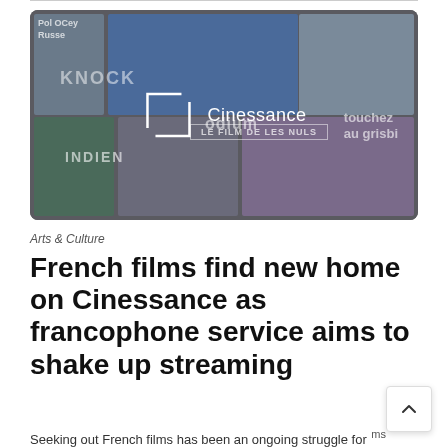[Figure (photo): Screenshot of Cinessance streaming service interface showing multiple French film posters in a dark grid layout, with the Cinessance logo (white bracket and text) overlaid in the center. Visible text on posters includes KNOCK, odium, touchez au grisbi, INDIEN, LE FILM DE LES NULS.]
Arts & Culture
French films find new home on Cinessance as francophone service aims to shake up streaming
Seeking out French films has been an ongoing struggle for